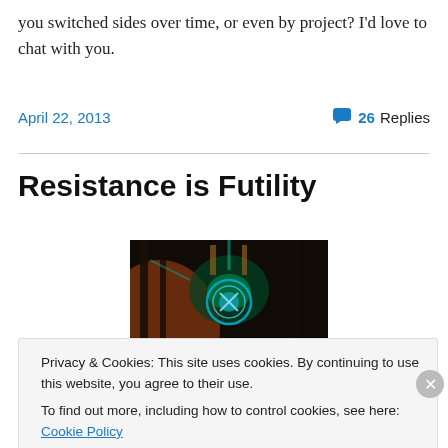you switched sides over time, or even by project? I'd love to chat with you.
April 22, 2013   26 Replies
Resistance is Futility
[Figure (photo): Dark atmospheric photo of what appears to be a mechanical or industrial setup with green/teal lighting and circular elements]
Privacy & Cookies: This site uses cookies. By continuing to use this website, you agree to their use.
To find out more, including how to control cookies, see here: Cookie Policy
Close and accept